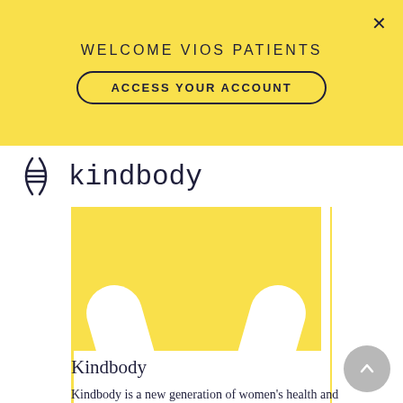WELCOME VIOS PATIENTS
ACCESS YOUR ACCOUNT
[Figure (logo): Kindbody logo with hamburger menu icon and brand name in monospace font]
[Figure (illustration): Yellow rectangle with white arch/shoulder shapes at bottom representing a stylized uterus or fertility symbol]
Kindbody
Kindbody is a new generation of women's health and fertility care. Providing you with the information you need to take control of your health and make the decisions that are right for you. We're a community of healthcare providers, fertility specialists, and women who get it. We're on a mission to democratize and de-